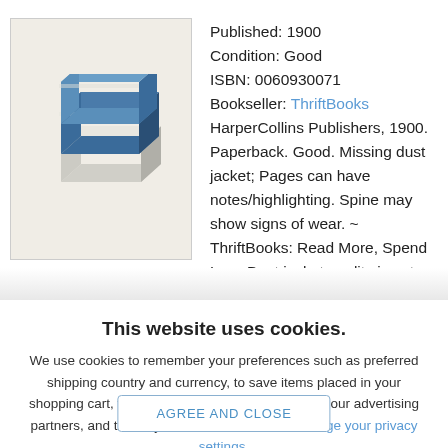[Figure (illustration): Illustration of a stack of books with blue covers, isometric view]
Published: 1900
Condition: Good
ISBN: 0060930071
Bookseller: ThriftBooks
HarperCollins Publishers, 1900. Paperback. Good. Missing dust jacket; Pages can have notes/highlighting. Spine may show signs of wear. ~ ThriftBooks: Read More, Spend Less.Dust jacket quality is not guaranteed.
This website uses cookies.
We use cookies to remember your preferences such as preferred shipping country and currency, to save items placed in your shopping cart, to track website visits referred from our advertising partners, and to analyze our website traffic. Manage your privacy settings.
AGREE AND CLOSE